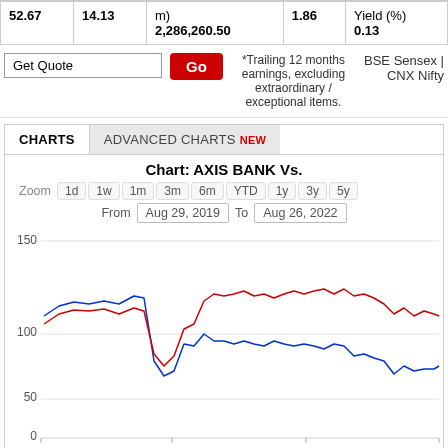|  |  |  |  |  |
| --- | --- | --- | --- | --- |
| 52.67 | 14.13 | m)
2,286,260.50 | 1.86 | Yield (%)
0.13 |
Get Quote | Go | *Trailing 12 months earnings, excluding extraordinary / exceptional items. | BSE Sensex | CNX Nifty
CHARTS | ADVANCED CHARTS NEW
[Figure (line-chart): Chart: AXIS BANK Vs.]